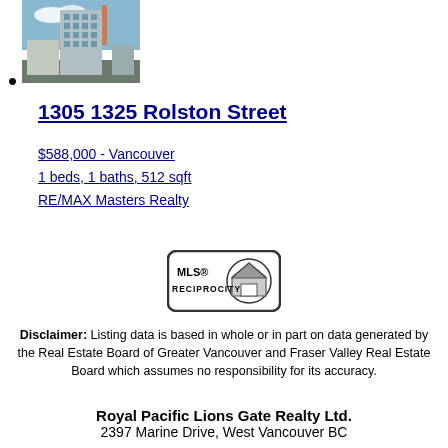[Figure (photo): Exterior photo of a modern high-rise condominium building under construction or recently built, with a blue sky background.]
1305 1325 Rolston Street
$588,000 - Vancouver
1 beds, 1 baths, 512 sqft
RE/MAX Masters Realty
[Figure (logo): MLS Reciprocity logo — rounded rectangle with MLS® RECIPROCITY text and a house icon]
Disclaimer: Listing data is based in whole or in part on data generated by the Real Estate Board of Greater Vancouver and Fraser Valley Real Estate Board which assumes no responsibility for its accuracy.
Royal Pacific Lions Gate Realty Ltd.
2397 Marine Drive, West Vancouver BC